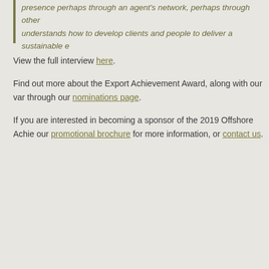presence perhaps through an agent's network, perhaps through other understands how to develop clients and people to deliver a sustainable e
View the full interview here.
Find out more about the Export Achievement Award, along with our var through our nominations page.
If you are interested in becoming a sponsor of the 2019 Offshore Achie our promotional brochure for more information, or contact us.